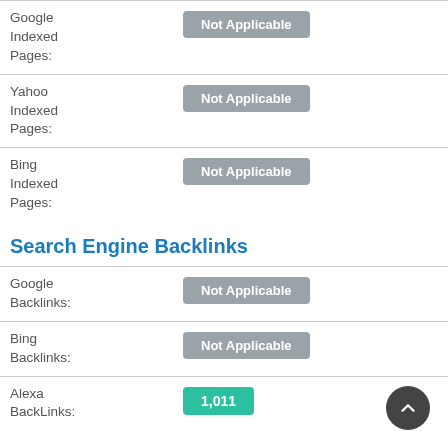| Label | Value |
| --- | --- |
| Google Indexed Pages: | Not Applicable |
| Yahoo Indexed Pages: | Not Applicable |
| Bing Indexed Pages: | Not Applicable |
Search Engine Backlinks
| Label | Value |
| --- | --- |
| Google Backlinks: | Not Applicable |
| Bing Backlinks: | Not Applicable |
| Alexa BackLinks: | 1,011 |